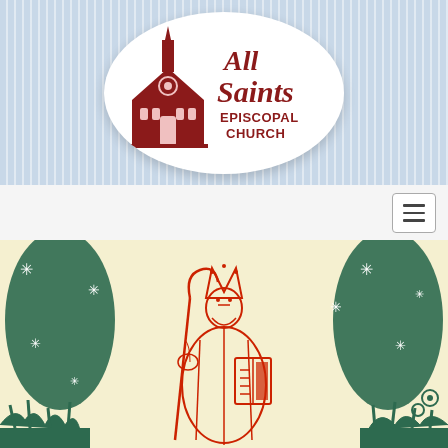[Figure (logo): All Saints Episcopal Church logo: red text 'All Saints' in decorative font with a red illustration of a church building, text 'EPISCOPAL CHURCH' below, all inside a white oval on a light blue striped background]
[Figure (illustration): A vintage woodcut-style illustration of a bishop or saint figure in robes, wearing a crown/mitre, holding a staff and an open book, surrounded by green decorative foliage and star/asterisk shapes, on a cream/pale yellow background]